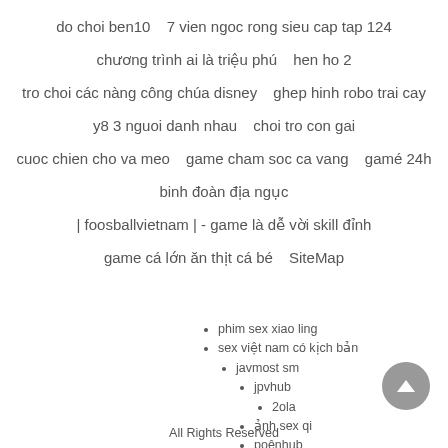do choi ben10    7 vien ngoc rong sieu cap tap 124
chương trình ai là triệu phú    hen ho 2
tro choi các nàng công chúa disney    ghep hinh robo trai cay
y8 3 nguoi danh nhau    choi tro con gai
cuoc chien cho va meo    game cham soc ca vang    gamé 24h
binh đoàn địa ngục
| foosballvietnam | - game là dễ vời skill đỉnh
game cá lớn ăn thịt cá bé    SiteMap
phim sex xiao ling
sex việt nam có kịch bản
javmost sm
jpvhub
2ola
ảnh sex qi
poênhub
fullporner
sayhentaiz
phim sex xiao ling
All Rights Reserved